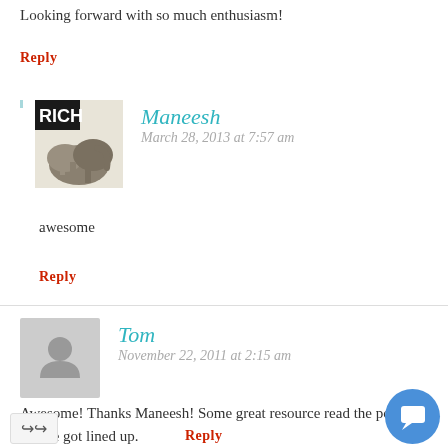Looking forward with so much enthusiasm!
Reply
Maneesh
March 28, 2013 at 7:57 am
awesome
Reply
Tom
November 22, 2011 at 2:15 am
Awesome! Thanks Maneesh! Some great resource read the post you've got lined up.
Reply